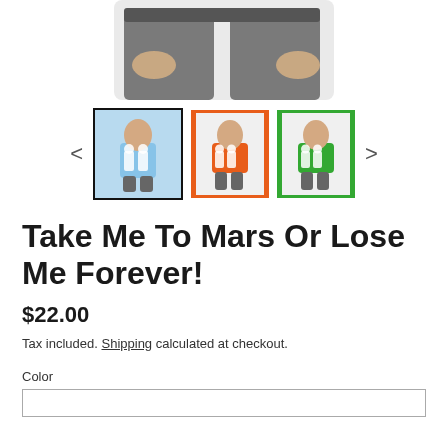[Figure (photo): Product image gallery showing a child wearing an astronaut-print t-shirt. Three thumbnail options shown: light blue (selected, with border), orange, and green versions. Navigation arrows on left and right.]
Take Me To Mars Or Lose Me Forever!
$22.00
Tax included. Shipping calculated at checkout.
Color